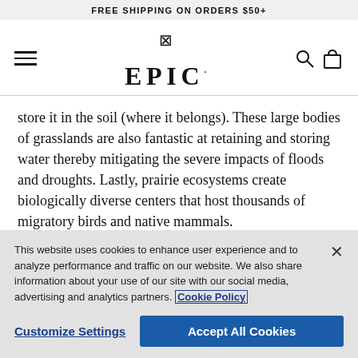FREE SHIPPING ON ORDERS $50+
[Figure (logo): EPIC brand logo with decorative icon above text]
store it in the soil (where it belongs). These large bodies of grasslands are also fantastic at retaining and storing water thereby mitigating the severe impacts of floods and droughts. Lastly, prairie ecosystems create biologically diverse centers that host thousands of migratory birds and native mammals.
This website uses cookies to enhance user experience and to analyze performance and traffic on our website. We also share information about your use of our site with our social media, advertising and analytics partners. Cookie Policy
Customize Settings   Accept All Cookies